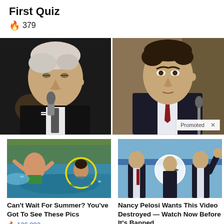First Quiz
🔥 379
[Figure (photo): Two side-by-side photos: left shows an older white-haired man speaking into a microphone in a dark setting; right shows a younger dark-haired man in a suit and red tie at a hearing. A 'Promoted X' badge appears in the bottom-right of the right photo.]
[Figure (photo): Photo of people in a pool with a yellow circle highlighting someone in the water.]
Can't Wait For Summer? You've Got To See These Pics
🔥 126,802
[Figure (photo): Photo of several people standing, with a white circle highlighting a person's face; appears to be an outdoor event.]
Nancy Pelosi Wants This Video Destroyed — Watch Now Before It's Banned
🔥 826,183